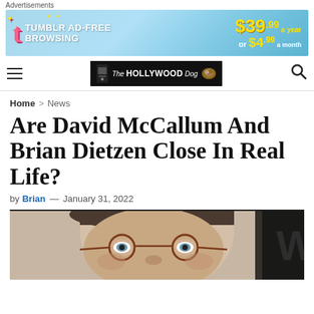Advertisements
[Figure (screenshot): Tumblr Ad-Free Browsing advertisement banner: $39.99 a year or $4.99 a month]
The HOLLYWOOD Dog (site logo/navigation bar with hamburger menu and search icon)
Home > News
Are David McCallum And Brian Dietzen Close In Real Life?
by Brian — January 31, 2022
[Figure (photo): Close-up photo of a man with round glasses, short dark hair, light blue eyes, against a dark background]